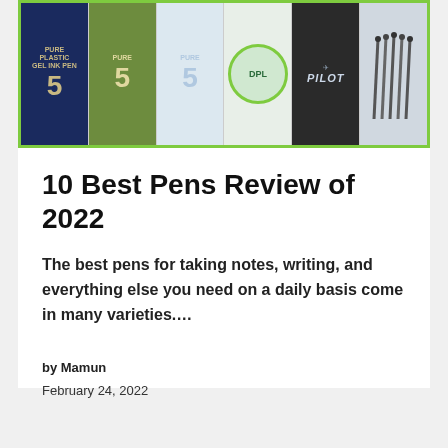[Figure (photo): Collage of pen product images including Pilot Pure Gel Ink Pen boxes (blue and green), pastel colored pens, a circular DPL badge logo, Pilot black ink pen packaging, and a bunch of gel pens fanned out against a white background. The image has a bright green border.]
10 Best Pens Review of 2022
The best pens for taking notes, writing, and everything else you need on a daily basis come in many varieties….
by Mamun
February 24, 2022